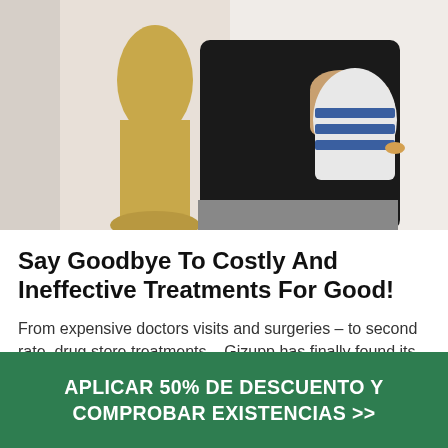[Figure (photo): A person in a black outfit holding a knee brace/orthopedic support, with a gold foot/leg mannequin visible on the left side. White background.]
Say Goodbye To Costly And Ineffective Treatments For Good!
From expensive doctors visits and surgeries – to second rate, drug store treatments – Gizupp has finally found its place in the hearts of knee pain ...
APLICAR 50% DE DESCUENTO Y COMPROBAR EXISTENCIAS >>